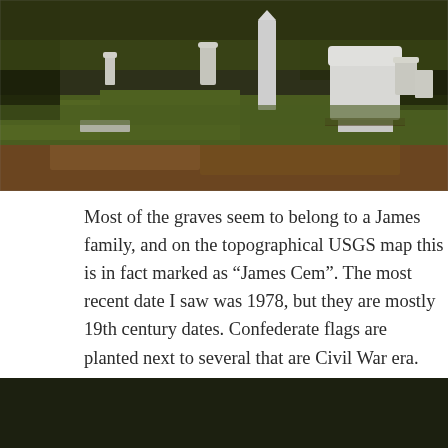[Figure (photo): Photograph of a cemetery with multiple gravestones/headstones among grass and fallen leaves, trees visible in the background. A large marble headstone is prominent on the right side.]
Most of the graves seem to belong to a James family, and on the topographical USGS map this is in fact marked as “James Cem”. The most recent date I saw was 1978, but they are mostly 19th century dates. Confederate flags are planted next to several that are Civil War era.
[Figure (photo): Photograph of cemetery gravestones among tall grass, with a partially visible white rounded gravestone in the foreground and white cross-shaped markers in the background.]